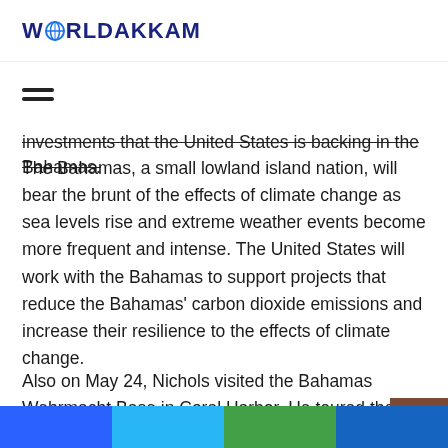WORLDAKKAM
investments that the United States is backing in the Bahamas.
The Bahamas, a small lowland island nation, will bear the brunt of the effects of climate change as sea levels rise and extreme weather events become more frequent and intense. The United States will work with the Bahamas to support projects that reduce the Bahamas' carbon dioxide emissions and increase their resilience to the effects of climate change.
Also on May 24, Nichols visited the Bahamas Wehrmacht Base in Coral Harbor. He toured the many lasting investments the United States made in its shared security partnership w